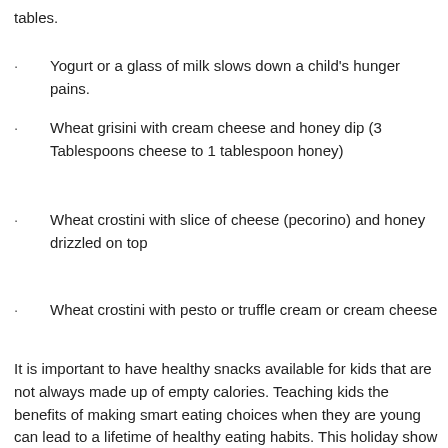tables.
Yogurt or a glass of milk slows down a child's hunger pains.
Wheat grisini with cream cheese and honey dip (3 Tablespoons cheese to 1 tablespoon honey)
Wheat crostini with slice of cheese (pecorino) and honey drizzled on top
Wheat crostini with pesto or truffle cream or cream cheese
It is important to have healthy snacks available for kids that are not always made up of empty calories. Teaching kids the benefits of making smart eating choices when they are young can lead to a lifetime of healthy eating habits. This holiday show your kids how snacks can add to their nutritional requirements for the day.
Nutritional snacks should be kept in an area that is easy for children to